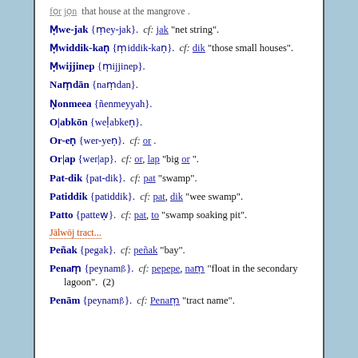for jọn that house at the mangrove
Mwe-jak {mey-jak}. cf: jak "net string".
Mwiddik-kaṇ {middik-kaṇ}. cf: dik "those small houses".
Mwijjinep {mijjinep}.
Namdān {naṃdan}.
Ṇonmeea {ñenmeyyah}.
O|abkōn {weḷabkeṇ}.
Or-eṇ {wer-yeṇ}. cf: or .
Or|ap {wer|ap}. cf: or, lap "big or".
Pat-dik {pat-dik}. cf: pat "swamp".
Patiddik {patiddik}. cf: pat, dik "wee swamp".
Patto {patteẉ}. cf: pat, to "swamp soaking pit".
Jālwōj tract...
Peñak {pegak}. cf: peñak "bay".
Penaṃ {peynamꞵ}. cf: pepepe, naṃ "float in the secondary lagoon". (2)
Penām {peynam}. cf: Penaṃ "tract name".